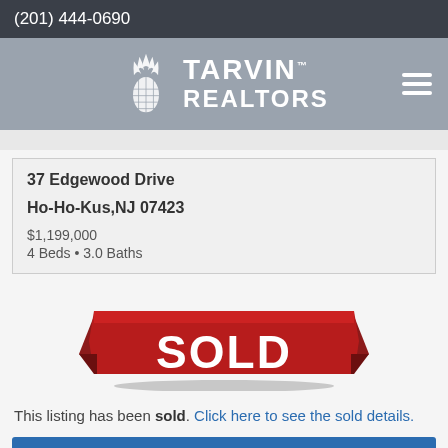(201) 444-0690
[Figure (logo): Tarvin Realtors logo with pineapple graphic and hamburger menu icon on gray background]
37 Edgewood Drive
Ho-Ho-Kus,NJ 07423
$1,199,000
4 Beds • 3.0 Baths
[Figure (illustration): Red ribbon SOLD banner with white bold text reading SOLD]
This listing has been sold. Click here to see the sold details.